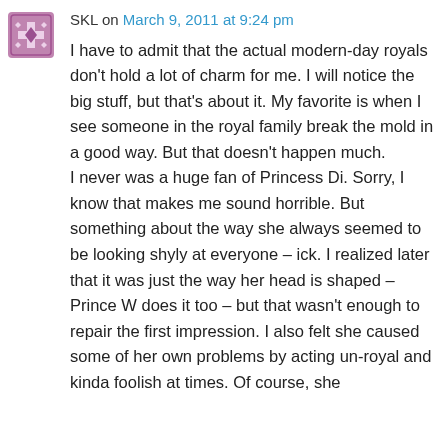[Figure (illustration): Purple/mauve decorative avatar icon with a geometric snowflake or cross pattern]
SKL on March 9, 2011 at 9:24 pm
I have to admit that the actual modern-day royals don't hold a lot of charm for me. I will notice the big stuff, but that's about it. My favorite is when I see someone in the royal family break the mold in a good way. But that doesn't happen much.
I never was a huge fan of Princess Di. Sorry, I know that makes me sound horrible. But something about the way she always seemed to be looking shyly at everyone – ick. I realized later that it was just the way her head is shaped – Prince W does it too – but that wasn't enough to repair the first impression. I also felt she caused some of her own problems by acting un-royal and kinda foolish at times. Of course, she